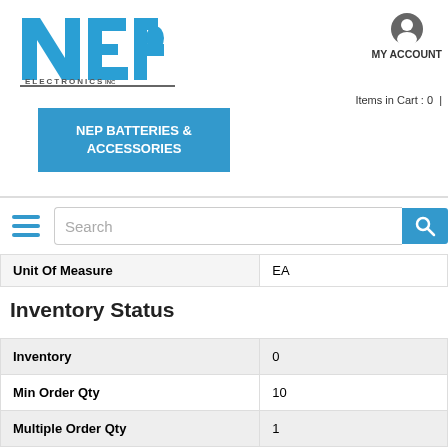[Figure (logo): NEP Electronics Inc logo in blue with stylized N, E, P letters]
MY ACCOUNT
Items in Cart : 0 |
NEP BATTERIES & ACCESSORIES
[Figure (screenshot): Navigation bar with hamburger menu and search box]
| Unit Of Measure | EA |
Inventory Status
| Inventory | 0 |
| Min Order Qty | 10 |
| Multiple Order Qty | 1 |